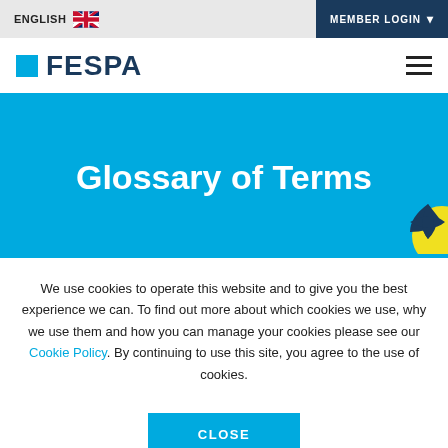ENGLISH  MEMBER LOGIN
[Figure (logo): FESPA logo with blue square and bold text]
Glossary of Terms
We use cookies to operate this website and to give you the best experience we can. To find out more about which cookies we use, why we use them and how you can manage your cookies please see our Cookie Policy. By continuing to use this site, you agree to the use of cookies.
CLOSE